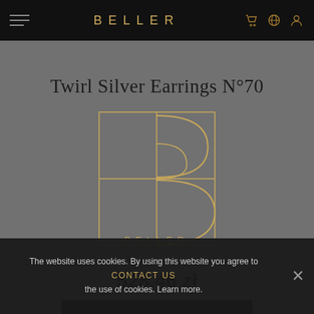BELLER
Twirl Silver Earrings N°70
[Figure (logo): Beller brand logo — a stylized letter B formed by geometric rectangles and arcs in gold/tan color on dark background, with 'BELLER' text below in gold spaced letters]
528,46 zł
ADD TO CART
CONTACT US
The website uses cookies. By using this website you agree to the use of cookies. Learn more.